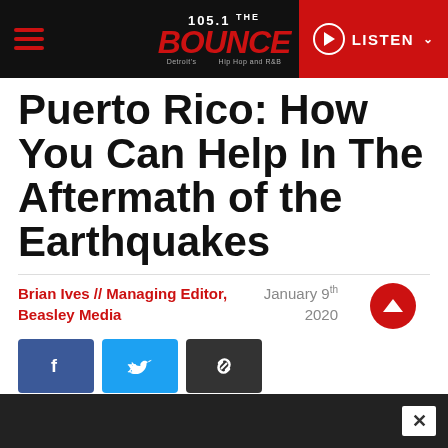105.1 THE BOUNCE — LISTEN
Puerto Rico: How You Can Help In The Aftermath of the Earthquakes
Brian Ives // Managing Editor, Beasley Media
January 9th 2020